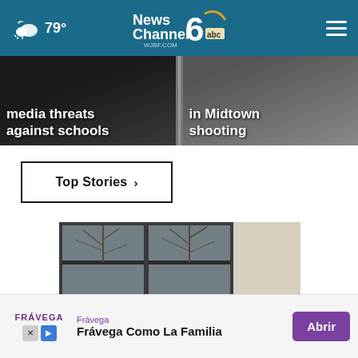79° News Channel 6 abc WJBF.COM
media threats against schools
in Midtown shooting
Top Stories ›
[Figure (photo): Security camera mounted on exterior of building with window frame visible behind it]
Frávega  Frávega Como La Familia  Abrir